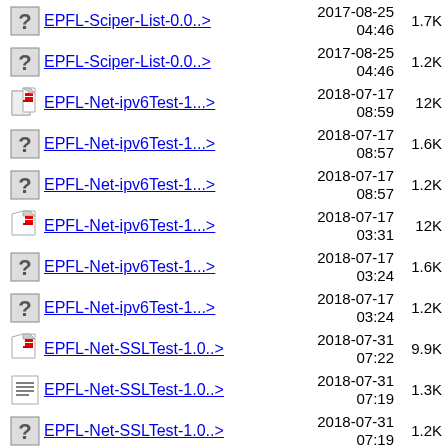EPFL-Sciper-List-0.0..> 2017-08-25 04:46 1.7K
EPFL-Sciper-List-0.0..> 2017-08-25 04:46 1.2K
EPFL-Net-ipv6Test-1...> 2018-07-17 08:59 12K
EPFL-Net-ipv6Test-1...> 2018-07-17 08:57 1.6K
EPFL-Net-ipv6Test-1...> 2018-07-17 08:57 1.2K
EPFL-Net-ipv6Test-1...> 2018-07-17 03:31 12K
EPFL-Net-ipv6Test-1...> 2018-07-17 03:24 1.6K
EPFL-Net-ipv6Test-1...> 2018-07-17 03:24 1.2K
EPFL-Net-SSLTest-1.0..> 2018-07-31 07:22 9.9K
EPFL-Net-SSLTest-1.0..> 2018-07-31 07:19 1.3K
EPFL-Net-SSLTest-1.0..> 2018-07-31 07:19 1.2K
2021-11-21